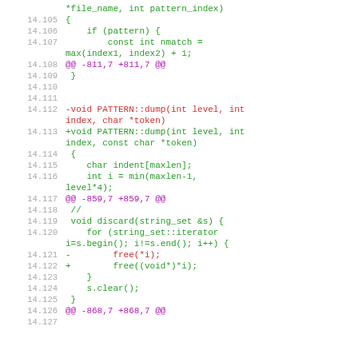Code diff showing C++ patch lines 14.105-14.127, including pattern index, PATTERN::dump signature change, and discard function with free cast fix.